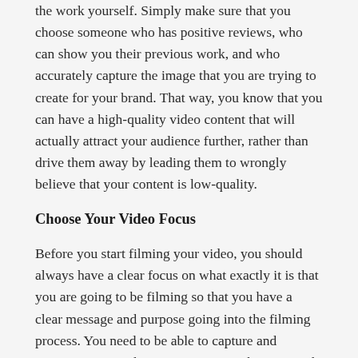the work yourself. Simply make sure that you choose someone who has positive reviews, who can show you their previous work, and who accurately capture the image that you are trying to create for your brand. That way, you know that you can have a high-quality video content that will actually attract your audience further, rather than drive them away by leading them to wrongly believe that your content is low-quality.
Choose Your Video Focus
Before you start filming your video, you should always have a clear focus on what exactly it is that you are going to be filming so that you have a clear message and purpose going into the filming process. You need to be able to capture and maintain your audience's attention right away and maintain it throughout the entire video, which cannot